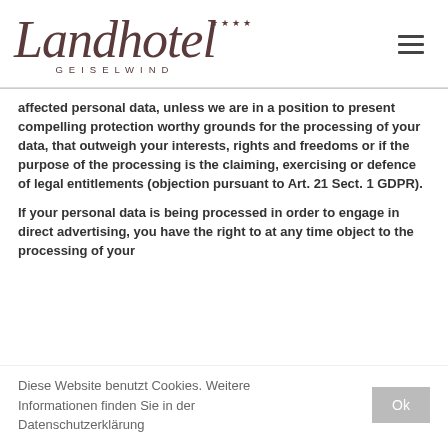[Figure (logo): Landhotel Geiselwind logo with script lettering and four stars]
affected personal data, unless we are in a position to present compelling protection worthy grounds for the processing of your data, that outweigh your interests, rights and freedoms or if the purpose of the processing is the claiming, exercising or defence of legal entitlements (objection pursuant to Art. 21 Sect. 1 GDPR).
If your personal data is being processed in order to engage in direct advertising, you have the right to at any time object to the processing of your
Diese Website benutzt Cookies. Weitere Informationen finden Sie in der Datenschutzerklärung